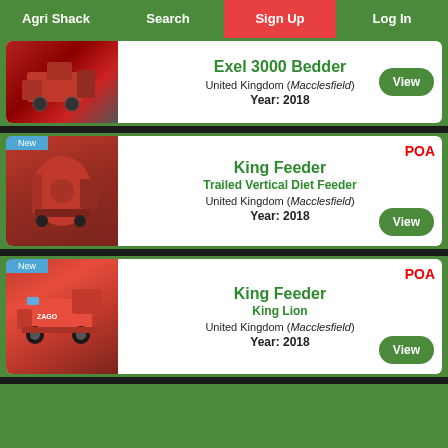Agri Shack  Search  Sign Up  Log In
[Figure (screenshot): Partial listing card: Exel 3000 Bedder, United Kingdom (Macclesfield), Year: 2018, View button]
[Figure (screenshot): Listing card: King Feeder - Trailed Vertical Diet Feeder, New badge, POA, United Kingdom (Macclesfield), Year: 2018, View button]
[Figure (screenshot): Listing card: King Feeder - King Lion, New badge, POA, United Kingdom (Macclesfield), Year: 2018, View button]